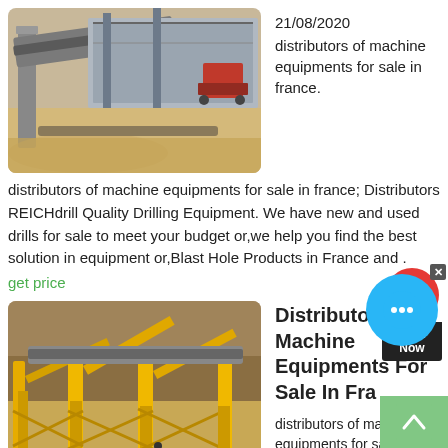[Figure (photo): Industrial mining or quarrying equipment facility with conveyors and machinery, outdoor setting with sandy ground]
21/08/2020 distributors of machine equipments for sale in france.
distributors of machine equipments for sale in france; Distributors REICHdrill Quality Drilling Equipment. We have new and used drills for sale to meet your budget or,we help you find the best solution in equipment or,Blast Hole Products in France and .
get price
[Figure (photo): Large yellow industrial mobile screening or crushing equipment in an open-pit mine or quarry setting]
Distributors Of Machine Equipments For Sale In Fra
distributors of machine equipments for sale in france. Used Heavy Construction Equipment for Sale Find great deals on eBay for distributor machine and distributor. Sun Distributor Tester